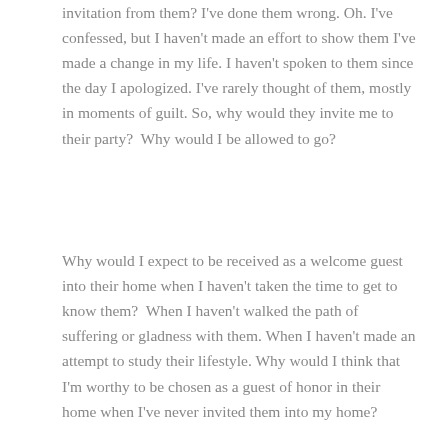invitation from them? I've done them wrong. Oh. I've confessed, but I haven't made an effort to show them I've made a change in my life. I haven't spoken to them since the day I apologized. I've rarely thought of them, mostly in moments of guilt. So, why would they invite me to their party?  Why would I be allowed to go?
Why would I expect to be received as a welcome guest into their home when I haven't taken the time to get to know them?  When I haven't walked the path of suffering or gladness with them. When I haven't made an attempt to study their lifestyle. Why would I think that I'm worthy to be chosen as a guest of honor in their home when I've never invited them into my home?